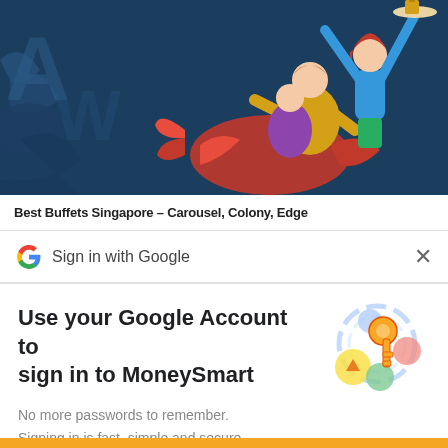[Figure (illustration): Colorful illustration on a dark navy background showing people at a buffet — a woman with raised arms holding a tray, a man in a yellow shirt, a large red lobster/crab, and abstract dark blue shapes in the background.]
Best Buffets Singapore – Carousel, Colony, Edge
Sign in with Google
Use your Google Account to sign in to MoneySmart
No more passwords to remember.
Signing in is fast, simple and secure.
[Figure (illustration): Google sign-in illustration: a golden key with circular motion lines, surrounded by colorful overlapping circles (blue, yellow, green, pink) representing Google account security.]
Continue